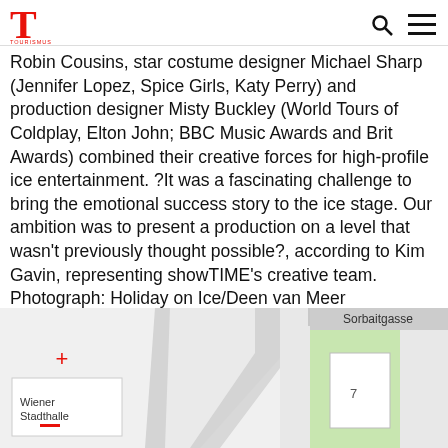T [logo] — search and menu icons
Robin Cousins, star costume designer Michael Sharp (Jennifer Lopez, Spice Girls, Katy Perry) and production designer Misty Buckley (World Tours of Coldplay, Elton John; BBC Music Awards and Brit Awards) combined their creative forces for high-profile ice entertainment. ?It was a fascinating challenge to bring the emotional success story to the ice stage. Our ambition was to present a production on a level that wasn't previously thought possible?, according to Kim Gavin, representing showTIME's creative team. Photograph: Holiday on Ice/Deen van Meer
[Figure (map): Street map showing Sorbaitgasse area with a green area labeled 7, a white building outline labeled Wiener Stadthalle, and a plus (+) zoom control]